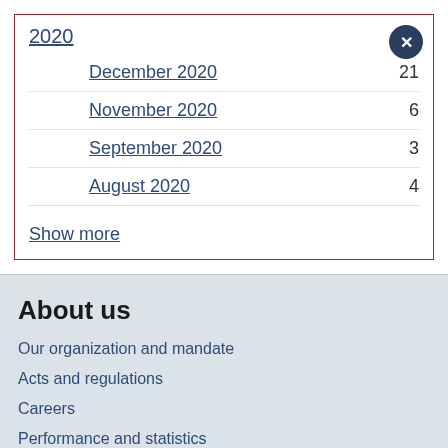2020
December 2020    21
November 2020    6
September 2020    3
August 2020    4
Show more
About us
Our organization and mandate
Acts and regulations
Careers
Performance and statistics